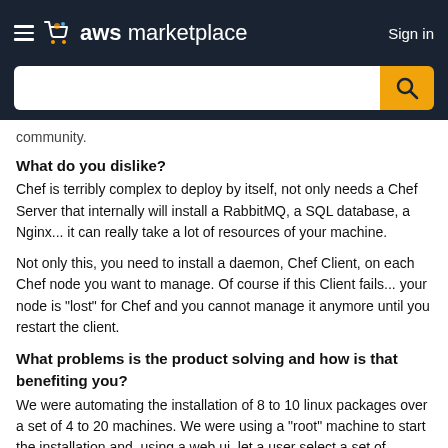aws marketplace  Sign in
community.
What do you dislike?
Chef is terribly complex to deploy by itself, not only needs a Chef Server that internally will install a RabbitMQ, a SQL database, a Nginx... it can really take a lot of resources of your machine.
Not only this, you need to install a daemon, Chef Client, on each Chef node you want to manage. Of course if this Client fails... your node is "lost" for Chef and you cannot manage it anymore until you restart the client.
What problems is the product solving and how is that benefiting you?
We were automating the installation of 8 to 10 linux packages over a set of 4 to 20 machines. We were using a "root" machine to start the installation and, using a web ui, let a user select a set of technologies to install them on the rest of the nodes.